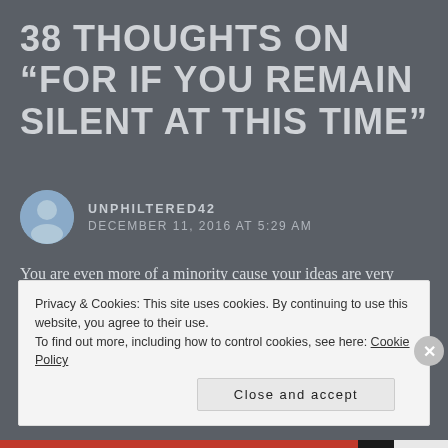38 THOUGHTS ON “FOR IF YOU REMAIN SILENT AT THIS TIME”
UNPHILTERED42
DECEMBER 11, 2016 AT 5:29 AM
You are even more of a minority cause your ideas are very warped you sound like the open orthodox community that is also a minority you are rebel you probably dislike Kahana or the Yehuda Shomron your comfortable in a hutz Laaretz mentality very sad.
Privacy & Cookies: This site uses cookies. By continuing to use this website, you agree to their use.
To find out more, including how to control cookies, see here: Cookie Policy
Close and accept